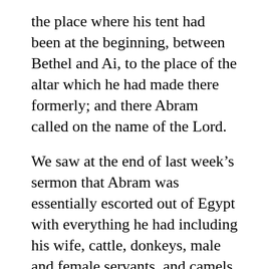the place where his tent had been at the beginning, between Bethel and Ai, to the place of the altar which he had made there formerly; and there Abram called on the name of the Lord.
We saw at the end of last week’s sermon that Abram was essentially escorted out of Egypt with everything he had including his wife, cattle, donkeys, male and female servants, and camels. We notice this also includes his nephew Lot. Lot has not been mentioned since Abram left Harran to go to Canaan and he is not mentioned in the episode in Egypt. He is now brought to our attention again because he will play a major role in this episode as Sarai did in the last one. We notice that Abram and his entourage leave Egypt and go up to the Negev which was going back the way he